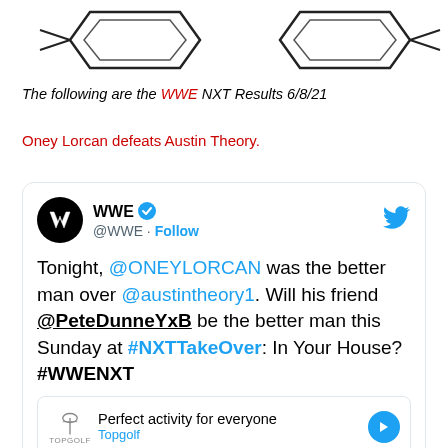[Figure (illustration): WWE NXT championship belt graphic / logo at top of page]
The following are the WWE NXT Results 6/8/21
Oney Lorcan defeats Austin Theory.
[Figure (screenshot): Embedded tweet from @WWE: Tonight, @ONEYLORCAN was the better man over @austintheory1. Will his friend @PeteDunneYxB be the better man this Sunday at #NXTTakeOver: In Your House? #WWENXT — with Topgolf ad embedded]